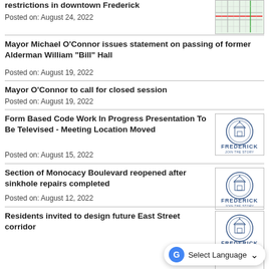Restrictions in downtown Frederick
Posted on: August 24, 2022
[Figure (map): Small map thumbnail showing downtown Frederick street restrictions]
Mayor Michael O'Connor issues statement on passing of former Alderman William "Bill" Hall
Posted on: August 19, 2022
Mayor O'Connor to call for closed session
Posted on: August 19, 2022
Form Based Code Work In Progress Presentation To Be Televised - Meeting Location Moved
Posted on: August 15, 2022
[Figure (logo): City of Frederick logo - circular seal with FREDERICK JOIN THE STORY text]
Section of Monocacy Boulevard reopened after sinkhole repairs completed
Posted on: August 12, 2022
[Figure (logo): City of Frederick logo - circular seal with FREDERICK JOIN THE STORY text]
Residents invited to design future East Street corridor
[Figure (logo): City of Frederick logo - FREDERICK text visible]